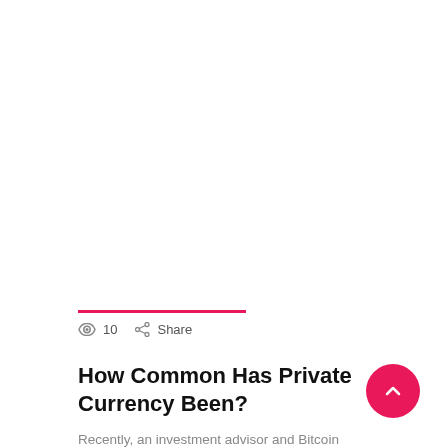10   Share
How Common Has Private Currency Been?
Recently, an investment advisor and Bitcoin